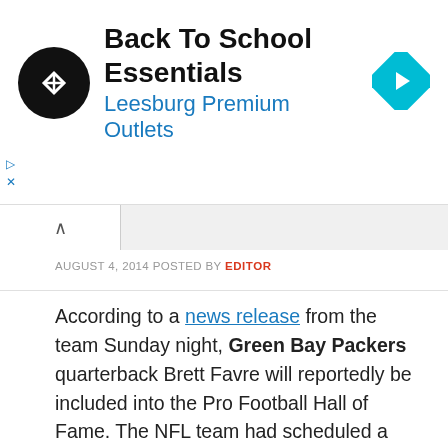[Figure (screenshot): Ad banner for 'Back To School Essentials – Leesburg Premium Outlets' with circular logo and blue diamond navigation icon]
AUGUST 4, 2014 POSTED BY EDITOR
According to a news release from the team Sunday night, Green Bay Packers quarterback Brett Favre will reportedly be included into the Pro Football Hall of Fame. The NFL team had scheduled a 2:30 p.m. ET news conference Monday, with Packers president and CEO Mark Murphy, former Packers chairman Bob Harlan and Perry Kidder, the president of Packers Hall of Fame Inc.